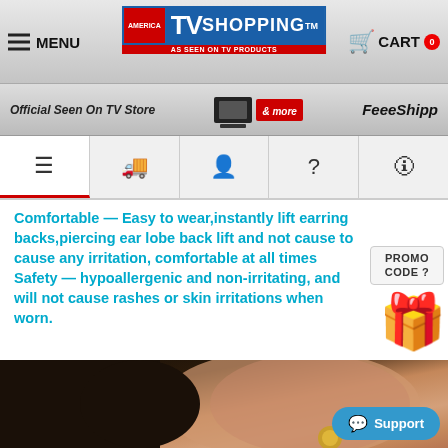MENU | TV SHOPPING America As Seen On TV Products | CART 0
Official Seen On TV Store | FeeeShipp
Navigation icons: menu, truck, person, question, info
Comfortable — Easy to wear,instantly lift earring backs,piercing ear lobe back lift and not cause to cause any irritation, comfortable at all times Safety — hypoallergenic and non-irritating, and will not cause rashes or skin irritations when worn.
[Figure (photo): Close-up photo of a woman's ear with gold earring, dark hair visible]
Support